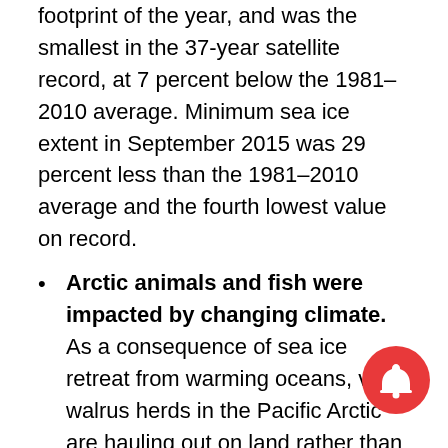footprint of the year, and was the smallest in the 37-year satellite record, at 7 percent below the 1981–2010 average. Minimum sea ice extent in September 2015 was 29 percent less than the 1981–2010 average and the fourth lowest value on record.
Arctic animals and fish were impacted by changing climate. As a consequence of sea ice retreat from warming oceans, vast walrus herds in the Pacific Arctic are hauling out on land rather than on sea ice, raising concern about the energy requirements of females and young animals. Increasing temperatures in the Barents Sea are linked to a shift in fish populations: warmer-water fish are moving further north and less arctically-adapted Arctic species are moving...